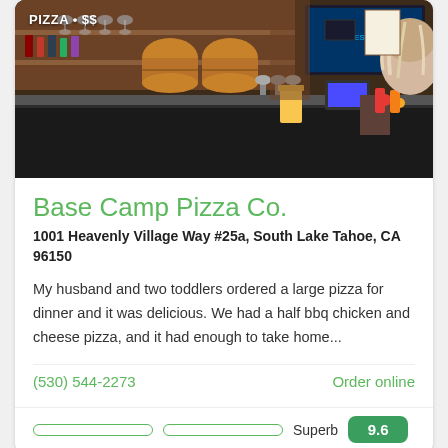[Figure (photo): Interior photo of a pizza restaurant bar with wine glasses, beer taps, wooden wine barrels, liquor bottles, and a TV screen in the background. Overlay text reads 'PIZZA • $$']
Base Camp Pizza Co.
1001 Heavenly Village Way #25a, South Lake Tahoe, CA 96150
My husband and two toddlers ordered a large pizza for dinner and it was delicious. We had a half bbq chicken and cheese pizza, and it had enough to take home...
(530) 544-2273
Order online
Superb